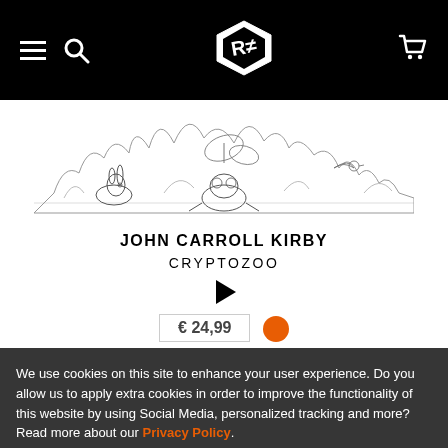Navigation bar with hamburger menu, search, logo, and cart icons
[Figure (illustration): Pencil sketch illustration of various animals in a natural scene - rabbits, frogs, butterflies, and other creatures]
JOHN CARROLL KIRBY
CRYPTOZOO
[Figure (other): Play button triangle icon]
€ 24,99
We use cookies on this site to enhance your user experience. Do you allow us to apply extra cookies in order to improve the functionality of this website by using Social Media, personalized tracking and more? Read more about our Privacy Policy.
Yes
No